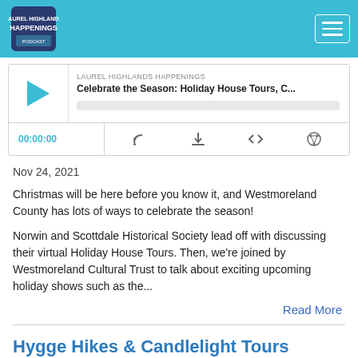Laurel Highlands Happenings - navigation bar with logo and hamburger menu
[Figure (screenshot): Podcast player widget showing episode titled 'Celebrate the Season: Holiday House Tours, C...' from LAUREL HIGHLANDS HAPPENINGS, with play button, progress bar, time 00:00:00, and controls for RSS, download, embed, and share.]
Nov 24, 2021
Christmas will be here before you know it, and Westmoreland County has lots of ways to celebrate the season!
Norwin and Scottdale Historical Society lead off with discussing their virtual Holiday House Tours. Then, we're joined by Westmoreland Cultural Trust to talk about exciting upcoming holiday shows such as the...
Read More
Hygge Hikes & Candlelight Tours